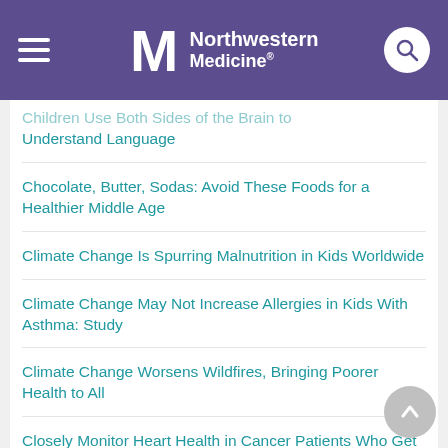Northwestern Medicine
Children Use Both Sides of the Brain to Understand Language
Chocolate, Butter, Sodas: Avoid These Foods for a Healthier Middle Age
Climate Change Is Spurring Malnutrition in Kids Worldwide
Climate Change May Not Increase Allergies in Kids With Asthma: Study
Climate Change Worsens Wildfires, Bringing Poorer Health to All
Closely Monitor Heart Health in Cancer Patients Who Get Hormonal Therapies: AHA
Clot-Busting Drugs Safe in Stroke Patients When Brain Aneurysm Hasn't Ruptured